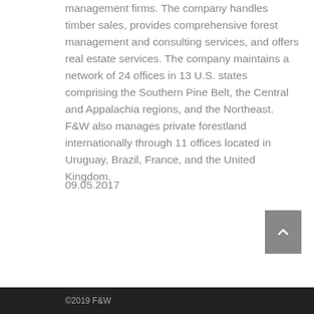management firms. The company handles timber sales, provides comprehensive forest management and consulting services, and offers real estate services. The company maintains a network of 24 offices in 13 U.S. states comprising the Southern Pine Belt, the Central and Appalachia regions, and the Northeast. F&W also manages private forestland internationally through 11 offices located in Uruguay, Brazil, France, and the United Kingdom.
09.05.2017
©2019 F&W